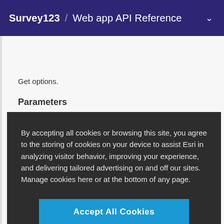Survey123 / Web app API Reference
Get options.
Parameters
By accepting all cookies or browsing this site, you agree to the storing of cookies on your device to assist Esri in analyzing visitor behavior, improving your experience, and delivering tailored advertising on and off our sites. Manage cookies here or at the bottom of any page.
Accept All Cookies
Cookies Settings
Get question value.